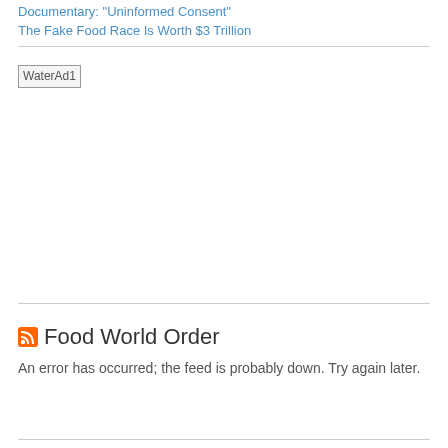Documentary: "Uninformed Consent"
The Fake Food Race Is Worth $3 Trillion
[Figure (other): Broken image placeholder labeled WaterAd1]
Food World Order
An error has occurred; the feed is probably down. Try again later.